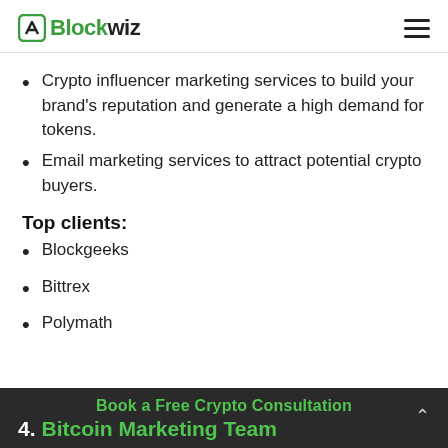Blockwiz
Crypto influencer marketing services to build your brand's reputation and generate a high demand for tokens.
Email marketing services to attract potential crypto buyers.
Top clients:
Blockgeeks
Bittrex
Polymath
Book a Free Crypto Consultation
4. Bitcoin Marketing Team